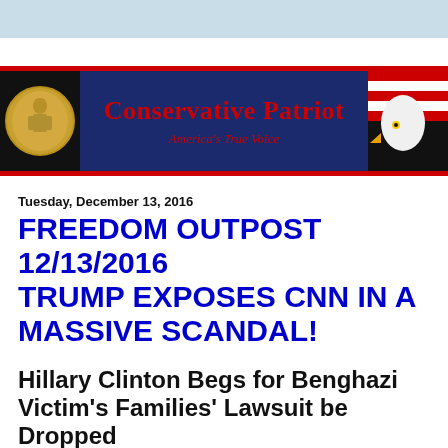[Figure (logo): Conservative Patriot website banner with gold coin on left, navy blue center with site name and tagline in red, bald eagle on right, red border top and bottom]
Tuesday, December 13, 2016
FREEDOM OUTPOST 12/13/2016 TRUMP EXPOSES CNN IN A MASSIVE SCANDAL!
Hillary Clinton Begs for Benghazi Victim's Families' Lawsuit be Dropped